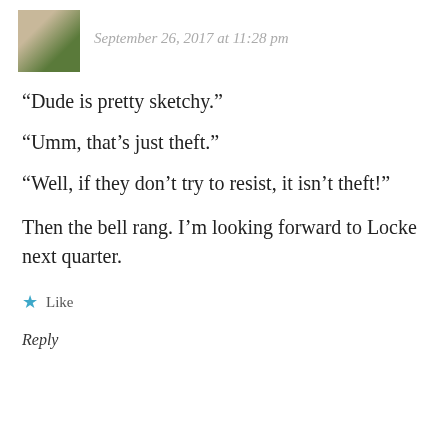September 26, 2017 at 11:28 pm
“Dude is pretty sketchy.”
“Umm, that’s just theft.”
“Well, if they don’t try to resist, it isn’t theft!”
Then the bell rang. I’m looking forward to Locke next quarter.
Like
Reply